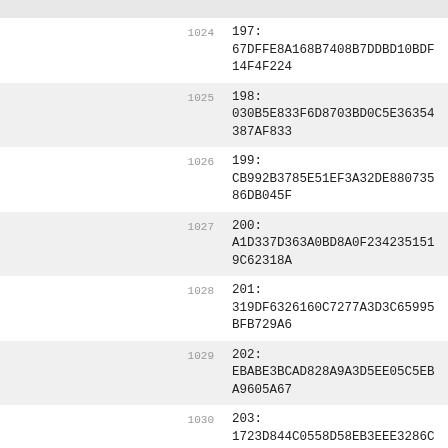| line | content |
| --- | --- |
| 1024 | 197:
67DFFE8A168B7408B7DDBD10BDF14F4F224 |
| 1025 | 198:
030B5E833F6D8703BD0C5E36354387AF833 |
| 1026 | 199:
CB992B3785E51EF3A32DE88073586DB045F |
| 1027 | 200:
A1D337D363A0BD8A0F2342351519C62318A |
| 1028 | 201:
319DF6326160C7277A3D3C65995BFB729A6 |
| 1029 | 202:
EBABE3BCAD828A9A3D5EE05C5EBA9605A67 |
| 1030 | 203:
1723D844C0558D58EB3EEE3286C48C133C5 |
| 1031 | 204:
B048BED188BFFB8FF1B14CAA0BACE82605A |
| 1032 | 205:
7FC6E8633CB9B16F553ECA3C75C0C0F7B61 |
| 1033 | 206:
BBC6F0E0158B6DD549C5BADE0FDFE415747 |